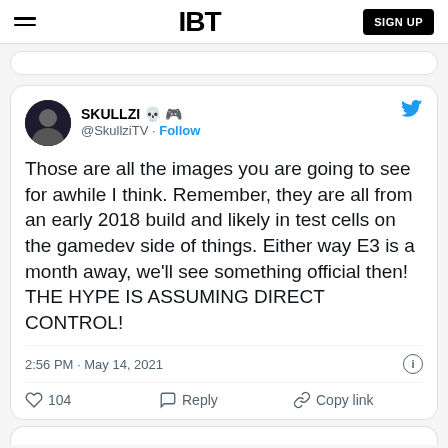IBT | SIGN UP
[Figure (screenshot): Embedded tweet from @SkullziTV with text: Those are all the images you are going to see for awhile I think. Remember, they are all from an early 2018 build and likely in test cells on the gamedev side of things. Either way E3 is a month away, we'll see something official then! THE HYPE IS ASSUMING DIRECT CONTROL! — 2:56 PM · May 14, 2021 — 104 likes, Reply, Copy link]